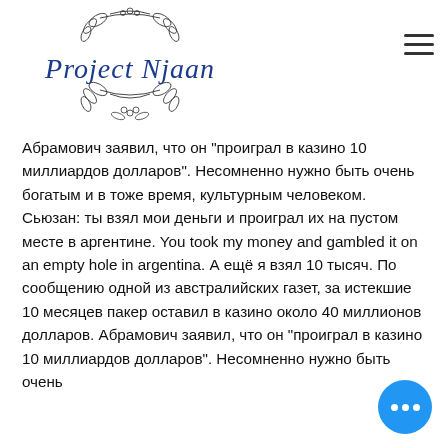[Figure (logo): Project Njaan logo with floral/botanical illustration and cursive blue text]
Абрамович заявил, что он "проиграл в казино 10 миллиардов долларов". Несомненно нужно быть очень богатым и в тоже время, культурным человеком. Сьюзан: ты взял мои деньги и проиграл их на пустом месте в аргентине. You took my money and gambled it on an empty hole in argentina. А ещё я взял 10 тысяч. По сообщению одной из австралийских газет, за истекшие 10 месяцев пакер оставил в казино около 40 миллионов долларов. Абрамович заявил, что он "проиграл в казино 10 миллиардов долларов". Несомненно нужно быть очень